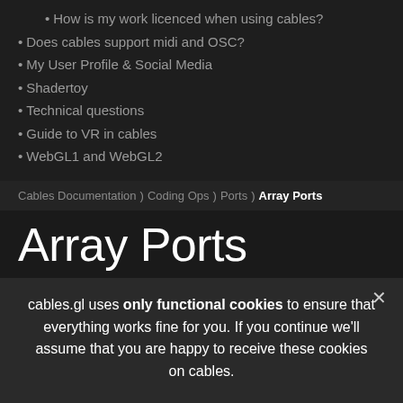• How is my work licenced when using cables?
• Does cables support midi and OSC?
• My User Profile & Social Media
• Shadertoy
• Technical questions
• Guide to VR in cables
• WebGL1 and WebGL2
Cables Documentation ) Coding Ops ) Ports ) Array Ports
Array Ports
This page will explain how to create an input and output port of
cables.gl uses only functional cookies to ensure that everything works fine for you. If you continue we'll assume that you are happy to receive these cookies on cables.